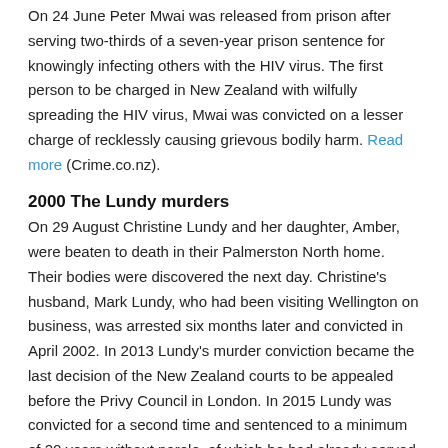On 24 June Peter Mwai was released from prison after serving two-thirds of a seven-year prison sentence for knowingly infecting others with the HIV virus. The first person to be charged in New Zealand with wilfully spreading the HIV virus, Mwai was convicted on a lesser charge of recklessly causing grievous bodily harm. Read more (Crime.co.nz).
2000 The Lundy murders
On 29 August Christine Lundy and her daughter, Amber, were beaten to death in their Palmerston North home. Their bodies were discovered the next day. Christine's husband, Mark Lundy, who had been visiting Wellington on business, was arrested six months later and convicted in April 2002. In 2013 Lundy's murder conviction became the last decision of the New Zealand courts to be appealed before the Privy Council in London. In 2015 Lundy was convicted for a second time and sentenced to a minimum of 20 years without parole, of which he had already served 12. Read more (Crime.co.nz).
2000 The Chubb robbery